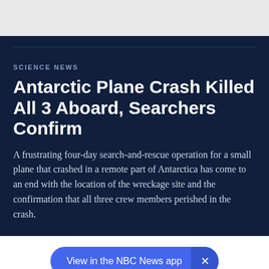SCIENCE NEWS
Antarctic Plane Crash Killed All 3 Aboard, Searchers Confirm
A frustrating four-day search-and-rescue operation for a small plane that crashed in a remote part of Antarctica has come to an end with the location of the wreckage site and the confirmation that all three crew members perished in the crash.
View in the NBC News app